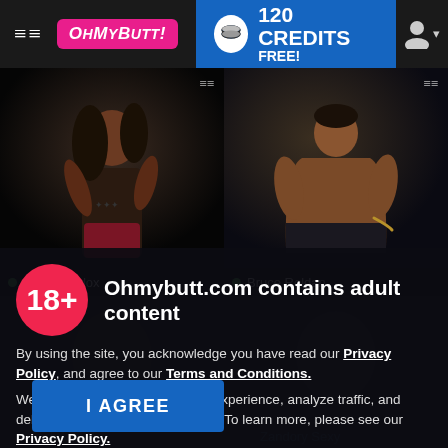≡≡ OhMyButt! | 120 CREDITS FREE!
[Figure (screenshot): Two shirtless male models in dark photos. Left: Ethan Madox with long hair and tattoos in red underwear. Right: Bruce Roldan, muscular, gym setting.]
Ethan Madox
Bruce Roldan
Ohmybutt.com contains adult content
By using the site, you acknowledge you have read our Privacy Policy, and agree to our Terms and Conditions.
We use cookies to optimize your experience, analyze traffic, and deliver more personalized service. To learn more, please see our Privacy Policy.
I AGREE